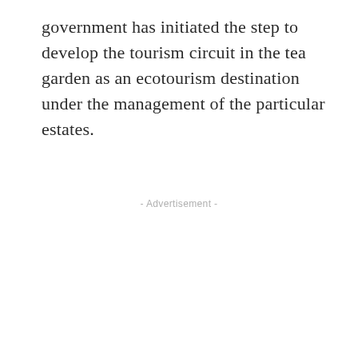government has initiated the step to develop the tourism circuit in the tea garden as an ecotourism destination under the management of the particular estates.
- Advertisement -